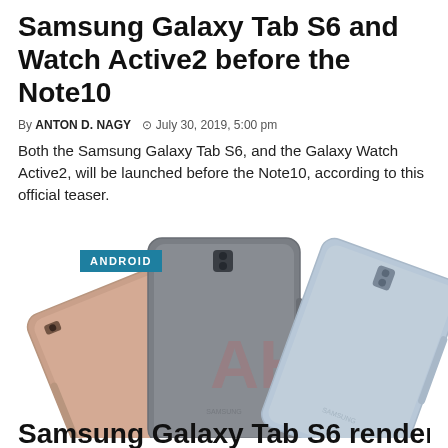Samsung Galaxy Tab S6 and Watch Active2 before the Note10
By ANTON D. NAGY  ⊙ July 30, 2019, 5:00 pm
Both the Samsung Galaxy Tab S6, and the Galaxy Watch Active2, will be launched before the Note10, according to this official teaser.
[Figure (photo): Three Samsung Galaxy Tab S6 tablets shown from the back in three colors: rose gold/pink, mountain grey, and cloud blue, fanned out. An ANDROID badge label appears in the upper left of the image. Large watermark letters 'AH' appear over the center tablet.]
Samsung Galaxy Tab S6 renders